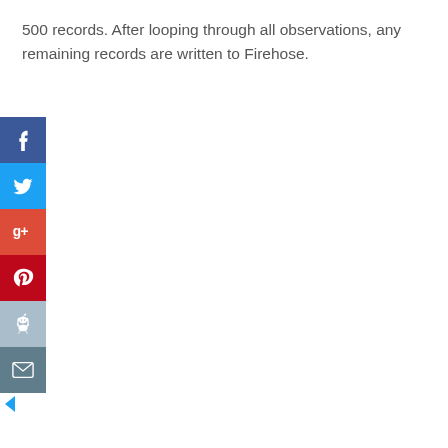500 records. After looping through all observations, any remaining records are written to Firehose.
[Figure (infographic): Vertical social sharing bar with icons for Facebook, Twitter, Google+, Pinterest, Reddit, and Email, plus a left-arrow collapse toggle]